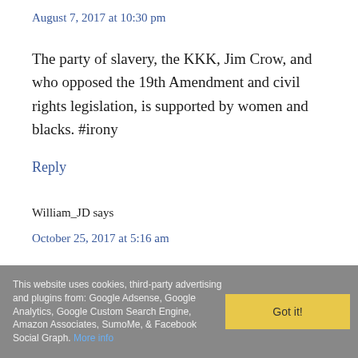August 7, 2017 at 10:30 pm
The party of slavery, the KKK, Jim Crow, and who opposed the 19th Amendment and civil rights legislation, is supported by women and blacks. #irony
Reply
William_JD says
October 25, 2017 at 5:16 am
This website uses cookies, third-party advertising and plugins from: Google Adsense, Google Analytics, Google Custom Search Engine, Amazon Associates, SumoMe, & Facebook Social Graph. More info